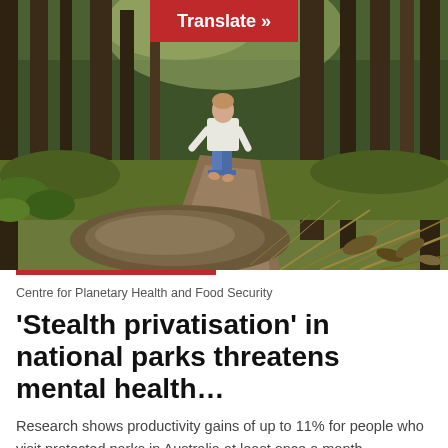[Figure (photo): A person walking barefoot along a dirt trail through a dense Australian forest with tall trees and green undergrowth. In the foreground is a muddy puddle. A red 'Translate »' button overlay appears at the top center of the image.]
Centre for Planetary Health and Food Security
‘Stealth privatisation’ in national parks threatens mental health…
Research shows productivity gains of up to 11% for people who visit protected parks in Australia at least once a month.